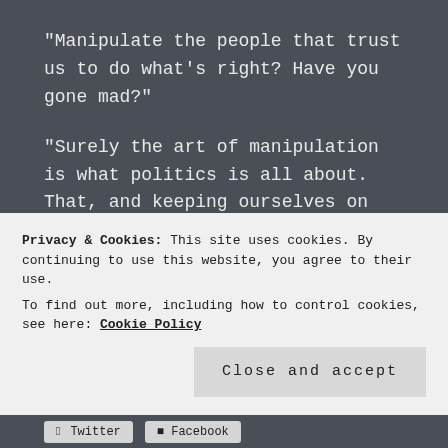"Manipulate the people that trust us to do what's right? Have you gone mad?"
"Surely the art of manipulation is what politics is all about. That, and keeping ourselves on top." The Servant chuckled.
Just to make clear, this post is just me being creative. I have no connection to anyone in the political system and generally support the middle-right wing and I
Privacy & Cookies: This site uses cookies. By continuing to use this website, you agree to their use.
To find out more, including how to control cookies, see here: Cookie Policy
Close and accept
Twitter  Facebook